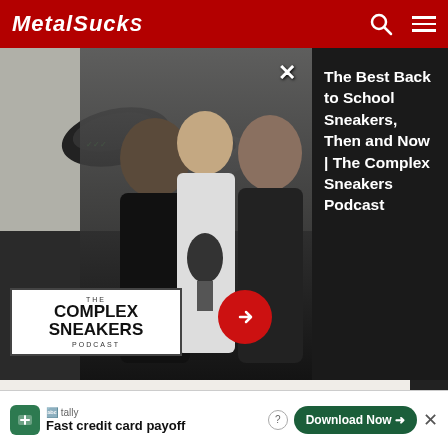MetalSucks
[Figure (screenshot): Ad overlay showing The Complex Sneakers Podcast with three men in photo on left, and text panel on right reading 'The Best Back to School Sneakers, Then and Now | The Complex Sneakers Podcast']
[Figure (photo): Two black t-shirts displayed side by side. Left shirt has metal band logo with '30 YEARS' text. Right shirt has 'BEST BAND IN THE WORLD' text.]
365  26  20
TAGS: A... FACTORY... HALESTO... MACHINE
[Figure (screenshot): Tally advertisement banner: 'Fast credit card payoff' with green Download Now button]